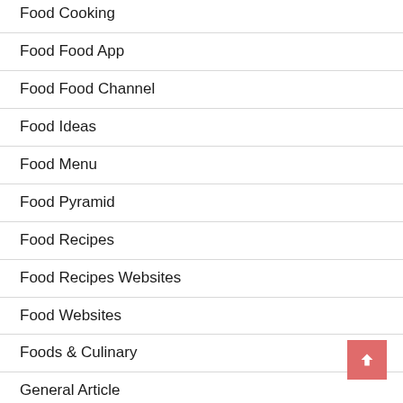Food Cooking
Food Food App
Food Food Channel
Food Ideas
Food Menu
Food Pyramid
Food Recipes
Food Recipes Websites
Food Websites
Foods & Culinary
General Article
Health & Fitness
Health Care & Medical
Home Products & Services